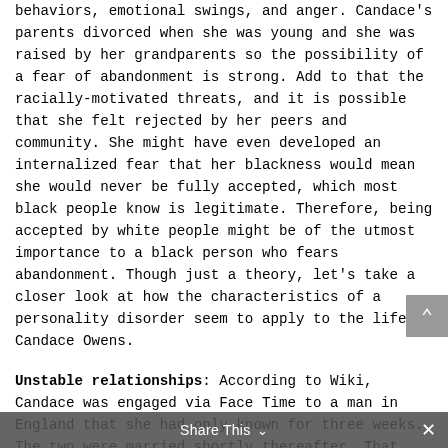behaviors, emotional swings, and anger.  Candace's parents divorced when she was young and she was raised by her grandparents so the possibility of a fear of abandonment is strong.  Add to that the racially-motivated threats, and it is possible that she felt rejected by her peers and community. She might have even developed an internalized fear that her blackness would mean she would never be fully accepted, which most black people know is legitimate.  Therefore, being accepted by white people might be of the utmost importance to a black person who fears abandonment.  Though just a theory, let's take a closer look at how the characteristics of a personality disorder seem to apply to the life of Candace Owens.
Unstable relationships:  According to Wiki, Candace was engaged via Face Time to a man in England that she had only known for three weeks.  The two were married shortly thereafter.  That doesn't seem like a very sensible and stable way to begin a relationship.  But he has money
Share This